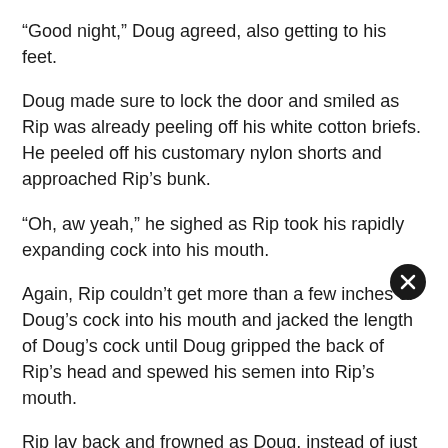“Good night,” Doug agreed, also getting to his feet.
Doug made sure to lock the door and smiled as Rip was already peeling off his white cotton briefs. He peeled off his customary nylon shorts and approached Rip’s bunk.
“Oh, aw yeah,” he sighed as Rip took his rapidly expanding cock into his mouth.
Again, Rip couldn’t get more than a few inches of Doug’s cock into his mouth and jacked the length of Doug’s cock until Doug gripped the back of Rip’s head and spewed his semen into Rip’s mouth.
Rip lay back and frowned as Doug, instead of just bending over and taking his throbbing hard cock into his mouth, got on to the bunk and spread Rip’s legs apart. Then Doug got in between Rip’s spread legs, kneeling on the bunk.
He took one of Rip’s balls into his hot mouth, gave the